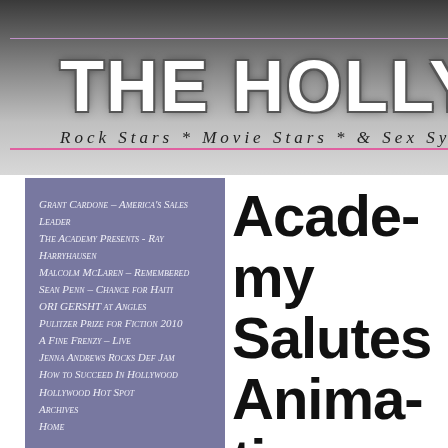THE HOLLYWOOD SE[NTINEL]
Rock Stars * Movie Stars * & Sex Sym[bols]
Grant Cardone – America's Sales Leader
The Academy Presents - Ray Harryhausen
Malcolm McLaren – Remembered
Sean Penn – Chance for Haiti
ORI GERSHT at Angles
Pulitzer Prize for Fiction 2010
A Fine Frenzy – Live
Jenna Andrews Rocks Def Jam
How to Succeed In Hollywood
Hollywood Hot Spot
Archives
Home
Academy Salutes Animation Legend